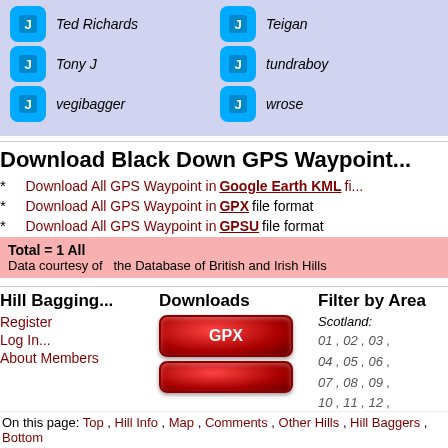[Figure (screenshot): Grid of hill baggers with icons: Ted Richards, Teigan, Tony J, tundraboy, vegibagger, wrose on purple background]
Download Black Down GPS Waypoint...
Download All GPS Waypoint in Google Earth KML file format
Download All GPS Waypoint in GPX file format
Download All GPS Waypoint in GPSU file format
Total = 1 All
Data courtesy of the Database of British and Irish Hills
Hill Bagging...
Register
Log In...
About Members
Downloads
[Figure (screenshot): Red GPX download button]
Filter by Area
Scotland:
01 , 02 , 03 , 04 , 05 , 06 , 07 , 08 , 09 , 10 , 11 , 12 , 13 , 14 , 15 ,
On this page: Top , Hill Info , Map , Comments , Other Hills , Hill Baggers , Bottom